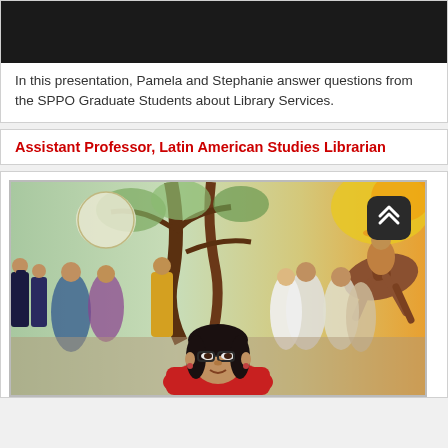[Figure (photo): Black/dark video thumbnail placeholder at the top of the page]
In this presentation, Pamela and Stephanie answer questions from the SPPO Graduate Students about Library Services.
Assistant Professor, Latin American Studies Librarian
[Figure (photo): Photo of a woman with dark hair and glasses standing in front of a colorful Diego Rivera-style mural depicting a large crowd scene with historical figures, horses, and festive imagery. A scroll-to-top button (double chevron up) is overlaid in the top-right corner of the photo.]